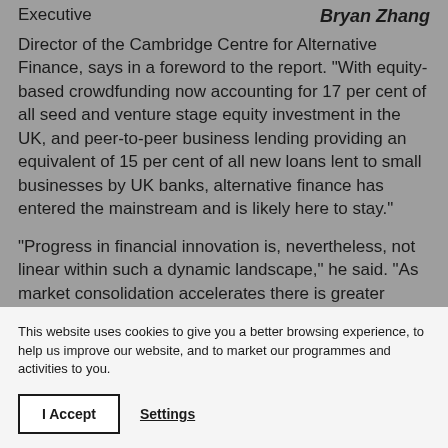Executive   Bryan Zhang
Director of the Cambridge Centre for Alternative Finance, says in a foreword to the report. “With equity-based crowdfunding now accounting for 17 per cent of all seed and venture stage equity investment in the UK, and peer-to-peer business lending providing an equivalent of 15 per cent of all new loans lent to small businesses by UK banks, alternative finance has entered the mainstream and is likely here to stay.”
“Progress in financial innovation is, nevertheless, not linear within such a dynamic landscape,” he said. “As market consolidation accelerates there is greater pressure on alternative finance platforms to
This website uses cookies to give you a better browsing experience, to help us improve our website, and to market our programmes and activities to you.
I Accept
Settings